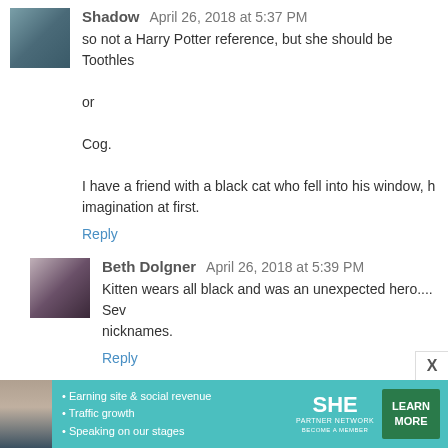Shadow  April 26, 2018 at 5:37 PM
so not a Harry Potter reference, but she should be Toothles
or
Cog.
I have a friend with a black cat who fell into his window, h imagination at first.
Reply
Beth Dolgner  April 26, 2018 at 5:39 PM
Kitten wears all black and was an unexpected hero.... Sev nicknames.
Reply
Kimmie  April 26, 2018 at 5:42 PM
Awww, good job, little moodsaver kitten!
Reply
[Figure (infographic): SHE Partner Network advertisement banner with teal background, woman photo, bullet points about earning site and social revenue, traffic growth, speaking on stages, SHE logo, and green LEARN MORE button]